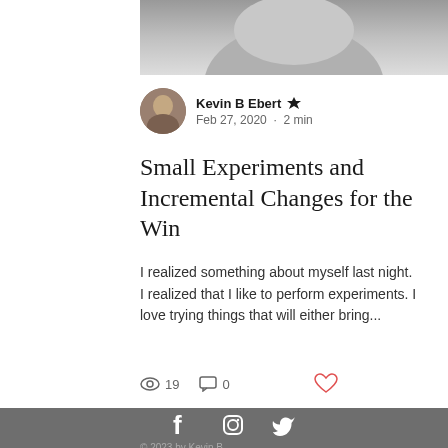[Figure (photo): Grayscale photo (cropped top portion visible) of a person]
Kevin B Ebert 👑
Feb 27, 2020 · 2 min
Small Experiments and Incremental Changes for the Win
I realized something about myself last night. I realized that I like to perform experiments. I love trying things that will either bring...
👁 19   💬 0
[Figure (other): Dark gray footer bar with Facebook, Instagram, and Twitter social media icons in white]
© 2023 by Cr...